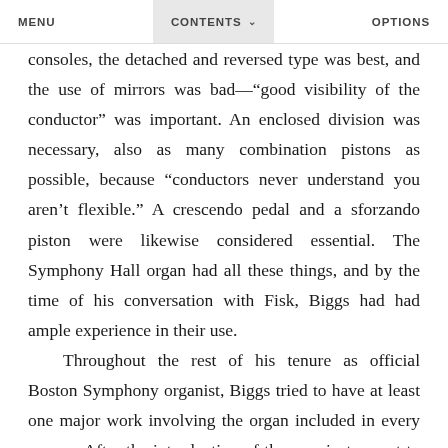MENU   CONTENTS   OPTIONS
consoles, the detached and reversed type was best, and the use of mirrors was bad—“good visibility of the conductor” was important. An enclosed division was necessary, also as many combination pistons as possible, because “conductors never understand you aren’t flexible.” A crescendo pedal and a sforzando piston were likewise considered essential. The Symphony Hall organ had all these things, and by the time of his conversation with Fisk, Biggs had had ample experience in their use.

Throughout the rest of his tenure as official Boston Symphony organist, Biggs tried to have at least one major work involving the organ included in every season. After the introduction of the new instrument to the